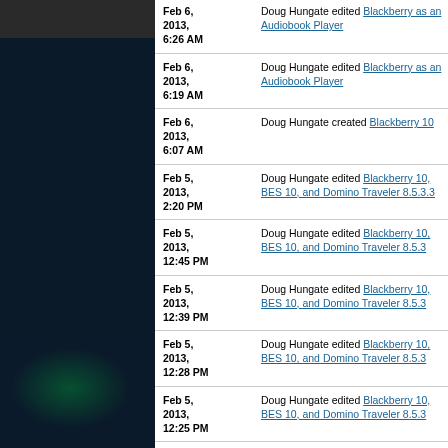Feb 6, 2013, 6:26 AM — Doug Hungate edited Blackberry as an Audiobook Player
Feb 6, 2013, 6:19 AM — Doug Hungate edited Blackberry as an Audiobook Player
Feb 6, 2013, 6:07 AM — Doug Hungate created Blackberry 10
Feb 5, 2013, 2:20 PM — Doug Hungate edited Blackberry 10, BES 10, and Domino Traveler 8.5.3.3
Feb 5, 2013, 12:45 PM — Doug Hungate edited Blackberry 10, BES 10, and Domino Traveler 8.5.3
Feb 5, 2013, 12:39 PM — Doug Hungate edited Blackberry 10, BES 10, and Domino Traveler 8.5.3
Feb 5, 2013, 12:28 PM — Doug Hungate edited Blackberry 10, BES 10, and Domino Traveler 8.5.3
Feb 5, 2013, 12:25 PM — Doug Hungate edited Blackberry 10, BES 10, and Domino Traveler 8.5.3
Feb 5, 2013, 12:07 PM — Doug Hungate created Blackberry 10, BES 10, and Domino Traveler 8.5.3